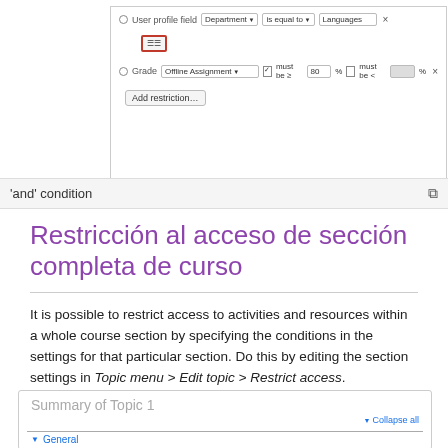[Figure (screenshot): Moodle restrict access UI showing: User profile field Department is equal to Languages (with X close button), a highlighted red-outlined button, Grade Offline Assignment must be >= 80 must be < [blank] %, Add restriction... button, and 'and' condition bar with copy icon]
Restricción al acceso de sección completa de curso
It is possible to restrict access to activities and resources within a whole course section by specifying the conditions in the settings for that particular section. Do this by editing the section settings in Topic menu > Edit topic > Restrict access.
[Figure (screenshot): Moodle course section editor showing: Summary of Topic 1, Collapse all link, General section with arrow, Section name label with Custom option]